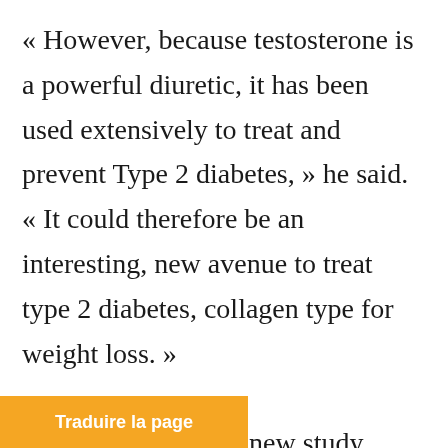« However, because testosterone is a powerful diuretic, it has been used extensively to treat and prevent Type 2 diabetes, » he said. « It could therefore be an interesting, new avenue to treat type 2 diabetes, collagen type for weight loss. »
Dos Santos said the new study findings confirm the initial findings of previous studies that testosterone therapy has the same effect on men with type 2 diabetes as those
[Figure (other): Orange translation bar at the bottom of the page with the text 'Traduire la page' in bold white font.]